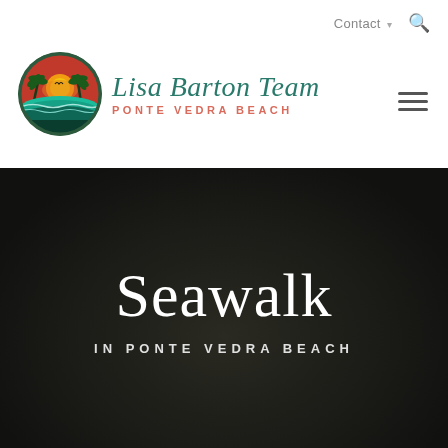[Figure (logo): Lisa Barton Team Ponte Vedra Beach logo: circular icon with palm trees, sunset and ocean waves, in red, yellow/orange, teal and dark green. Brand name 'Lisa Barton Team' in teal italic script, subtitle 'PONTE VEDRA BEACH' in salmon/coral spaced caps.]
Contact ▾  🔍
Seawalk
IN PONTE VEDRA BEACH